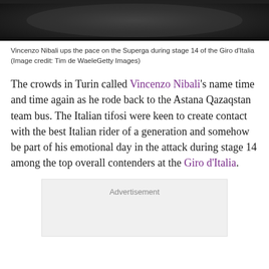[Figure (photo): Dark/silhouette photo strip of a cyclist on a road, cropped at the top of the page]
Vincenzo Nibali ups the pace on the Superga during stage 14 of the Giro d'Italia (Image credit: Tim de WaeleGetty Images)
The crowds in Turin called Vincenzo Nibali's name time and time again as he rode back to the Astana Qazaqstan team bus. The Italian tifosi were keen to create contact with the best Italian rider of a generation and somehow be part of his emotional day in the attack during stage 14 among the top overall contenders at the Giro d'Italia.
Advertisement